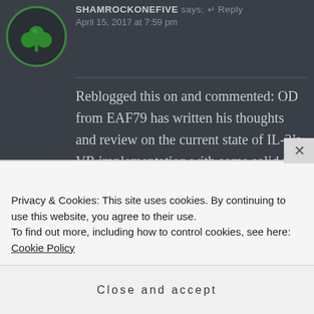[Figure (illustration): Green shamrock/clover logo inside a dark circular badge with green border]
SHAMROCKONEFIVE says: ↵ Reply
April 15, 2017 at 7:59 pm
Reblogged this on and commented: OD from EAF79 has written his thoughts and review on the current state of IL-2's VR implementation with some solid first hand experience.

Here's just a little of what he had to say:
“Things look as though you can reach
Privacy & Cookies: This site uses cookies. By continuing to use this website, you agree to their use.
To find out more, including how to control cookies, see here: Cookie Policy
Close and accept